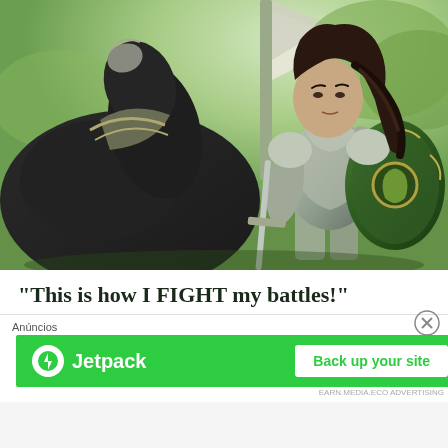[Figure (illustration): Fantasy illustration of a female warrior in silver and green armor holding a large ornate green shield, standing next to an armored black horse, with a flag and green-lit sky in the background.]
“This is how I FIGHT my battles!”
Anúncios
[Figure (logo): Jetpack advertisement banner with green background, Jetpack logo (white circle with lightning bolt icon) and text, and a white 'Back up your site' button.]